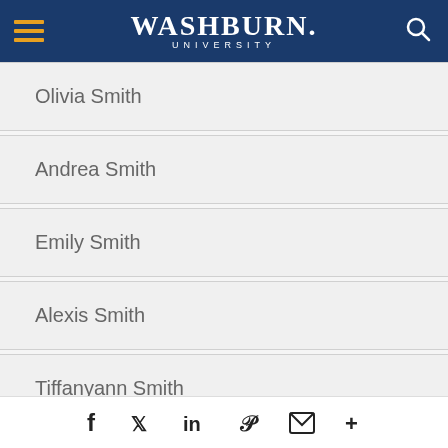Washburn University
Olivia Smith
Andrea Smith
Emily Smith
Alexis Smith
Tiffanyann Smith
Facebook Twitter LinkedIn Pinterest Email More